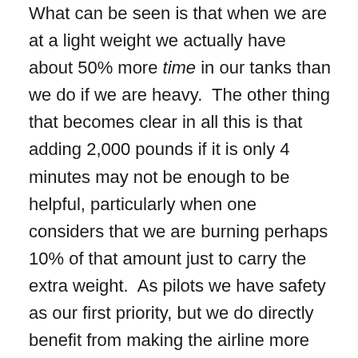What can be seen is that when we are at a light weight we actually have about 50% more time in our tanks than we do if we are heavy.  The other thing that becomes clear in all this is that adding 2,000 pounds if it is only 4 minutes may not be enough to be helpful, particularly when one considers that we are burning perhaps 10% of that amount just to carry the extra weight.  As pilots we have safety as our first priority, but we do directly benefit from making the airline more efficient also.  Having more fuel is also not always more safe as it can adversely impact performance during takeoff and cruise.  It can make the difference between cruising over the top of the weather or slugging through it and deviating constantly thus burning more fuel than we added to “be safe”.  These are the decisions we are paid for and knowing how much fuel you have, in time, is your best path to ensuring you are carrying the amount